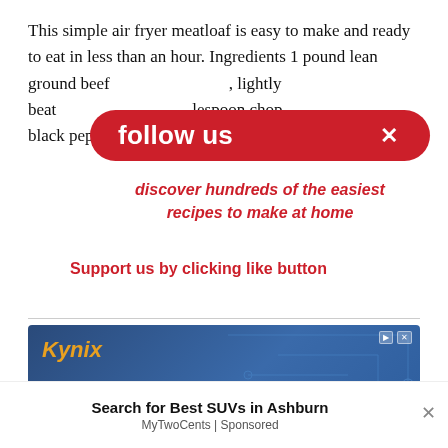This simple air fryer meatloaf is easy to make and ready to eat in less than an hour. Ingredients 1 pound lean ground beef , lightly beat  lespoon chop  black pepper to ta
[Figure (screenshot): Red follow us overlay banner with white X close button, red italic text 'discover hundreds of the easiest recipes to make at home', and red text 'Support us by clicking like button']
[Figure (screenshot): Kynix advertisement banner with dark blue background showing integrated circuit chip image. Text: 'One-stop purchasing Integrated Circuits (ICs). Extensive Stock Inventory. 100% Guaranteed Quality.']
Search for Best SUVs in Ashburn
MyTwoCents | Sponsored